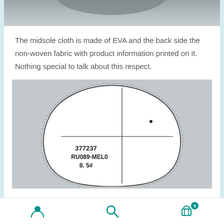[Figure (photo): Top portion of a shoe midsole photo, partially cropped, showing bottom of shoe insole on grey background]
The midsole cloth is made of EVA and the back side the non-woven fabric with product information printed on it. Nothing special to talk about this respect.
[Figure (photo): Close-up photo of a white shoe insole on grey background, showing the back side with product information printed: 377237, RU089-MEL0, 8.5#. The insole is divided into quadrants by thin lines.]
Navigation bar with user icon, search icon, and shopping cart icon with badge showing 0